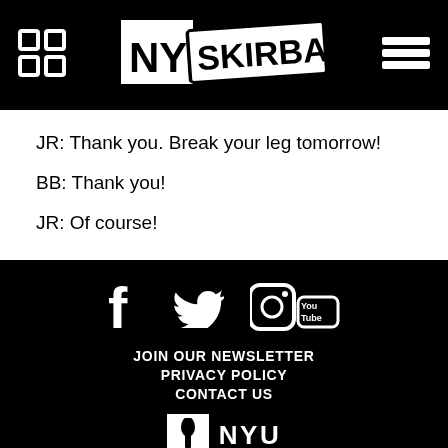NYU Skirball
JR: Thank you. Break your leg tomorrow!
BB: Thank you!
JR: Of course!
JOIN OUR NEWSLETTER | PRIVACY POLICY | CONTACT US | NYU